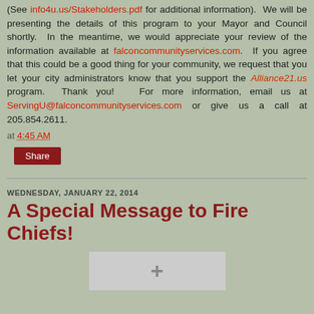(See info4u.us/Stakeholders.pdf for additional information). We will be presenting the details of this program to your Mayor and Council shortly. In the meantime, we would appreciate your review of the information available at falconcommunityservices.com. If you agree that this could be a good thing for your community, we request that you let your city administrators know that you support the Alliance21.us program. Thank you! For more information, email us at ServingU@falconcommunityservices.com or give us a call at 205.854.2611.
at 4:45 AM
Share
WEDNESDAY, JANUARY 22, 2014
A Special Message to Fire Chiefs!
[Figure (photo): Partial image showing a cross symbol, partially visible at bottom of page]